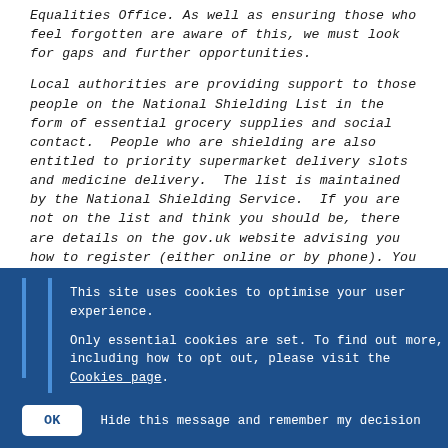Equalities Office. As well as ensuring those who feel forgotten are aware of this, we must look for gaps and further opportunities.

Local authorities are providing support to those people on the National Shielding List in the form of essential grocery supplies and social contact. People who are shielding are also entitled to priority supermarket delivery slots and medicine delivery. The list is maintained by the National Shielding Service. If you are not on the list and think you should be, there are details on the gov.uk website advising you how to register (either online or by phone). You can also register via your local council website. This
This site uses cookies to optimise your user experience.

Only essential cookies are set. To find out more, including how to opt out, please visit the Cookies page.
OK   Hide this message and remember my decision